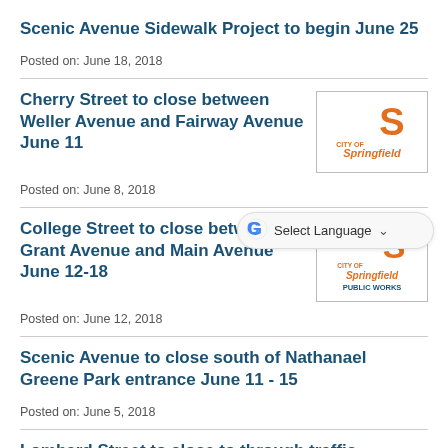Scenic Avenue Sidewalk Project to begin June 25
Posted on: June 18, 2018
Cherry Street to close between Weller Avenue and Fairway Avenue June 11
Posted on: June 8, 2018
[Figure (logo): City of Springfield logo with orange 'S' and text]
[Figure (screenshot): Google Translate Select Language widget]
College Street to close between Grant Avenue and Main Avenue June 12-18
Posted on: June 12, 2018
[Figure (logo): City of Springfield Public Works logo with orange 'S' and text]
Scenic Avenue to close south of Nathanael Greene Park entrance June 11 - 15
Posted on: June 5, 2018
Lombard Street to close to through traffic between Delaware Avenue and Pickwick Avenue June 5 - 15
Posted on: June 4, 2018